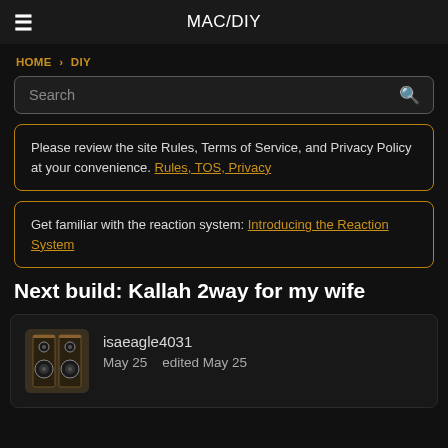MAC/DIY
HOME › DIY
Search
Please review the site Rules, Terms of Service, and Privacy Policy at your convenience. Rules, TOS, Privacy
Get familiar with the reaction system: Introducing the Reaction System
Next build: Kallah 2way for my wife
isaeagle4031
May 25    edited May 25